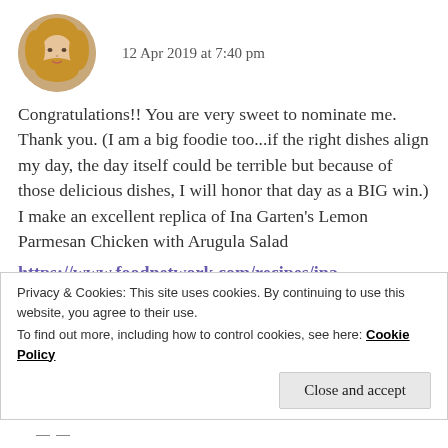[Figure (photo): Circular avatar photo of a woman with blonde hair]
12 Apr 2019 at 7:40 pm
Congratulations!! You are very sweet to nominate me. Thank you. (I am a big foodie too...if the right dishes align my day, the day itself could be terrible but because of those delicious dishes, I will honor that day as a BIG win.) I make an excellent replica of Ina Garten’s Lemon Parmesan Chicken with Arugula Salad
https://www.foodnetwork.com/recipes/ina-garten/lemon-parmesan-chicken-with-arugula-
Privacy & Cookies: This site uses cookies. By continuing to use this website, you agree to their use.
To find out more, including how to control cookies, see here: Cookie Policy
Close and accept